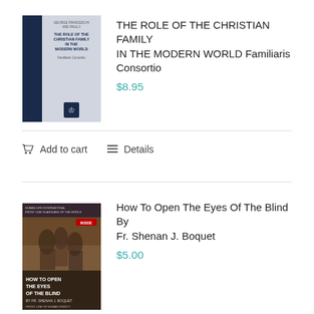[Figure (illustration): Book cover: The Role of the Christian Family in the Modern World, with navy spine and grey cover]
THE ROLE OF THE CHRISTIAN FAMILY IN THE MODERN WORLD Familiaris Consortio
$8.95
Add to cart   Details
[Figure (illustration): Book cover: How To Open The Eyes Of The Blind By Fr. Shenan J. Boquet]
How To Open The Eyes Of The Blind By Fr. Shenan J. Boquet
$5.00